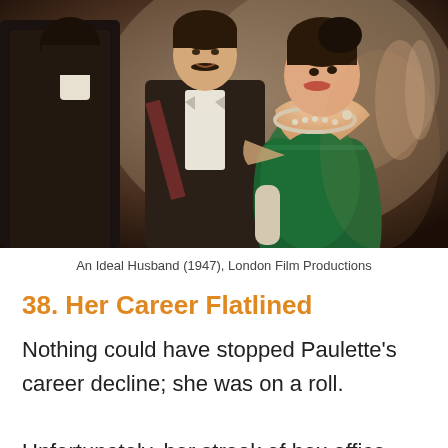[Figure (photo): Film still from An Ideal Husband (1947), London Film Productions. Three people in formal period attire at what appears to be a party or social gathering. A woman in a green off-shoulder dress with jeweled neckline smiles, flanked by two men in dark formal suits, one with a bow tie.]
An Ideal Husband (1947), London Film Productions
38.  Her Career Flatlined
Nothing could have stopped Paulette's career decline; she was on a roll. Unfortunately, her streak of box office flops